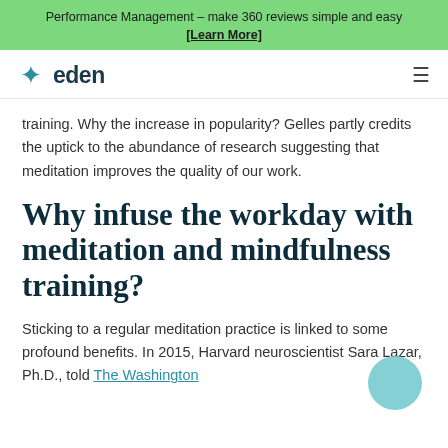Performance Management – make 360 reviews simple and easy [Learn More]
[Figure (logo): Eden logo with star icon and hamburger menu]
training. Why the increase in popularity? Gelles partly credits the uptick to the abundance of research suggesting that meditation improves the quality of our work.
Why infuse the workday with meditation and mindfulness training?
Sticking to a regular meditation practice is linked to some profound benefits. In 2015, Harvard neuroscientist Sara Lazar, Ph.D., told The Washington